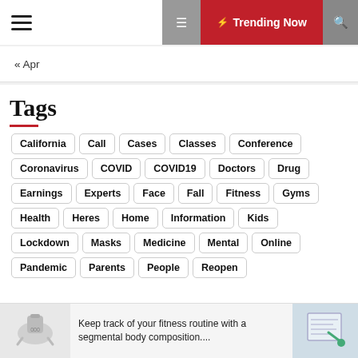☰  ⚡ Trending Now 🔍
« Apr
Tags
California
Call
Cases
Classes
Conference
Coronavirus
COVID
COVID19
Doctors
Drug
Earnings
Experts
Face
Fall
Fitness
Gyms
Health
Heres
Home
Information
Kids
Lockdown
Masks
Medicine
Mental
Online
Pandemic
Parents
People
Reopen
Keep track of your fitness routine with a segmental body composition....